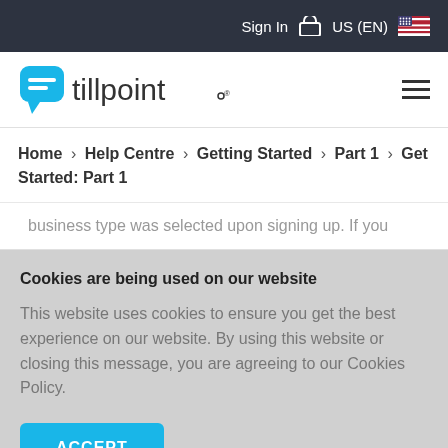Sign In  US (EN)
[Figure (logo): Tillpoint logo with blue speech bubble icon and wordmark 'tillpoint®']
Home > Help Centre > Getting Started > Part 1 > Get Started: Part 1
business type was selected upon signing up. If you
Cookies are being used on our website
This website uses cookies to ensure you get the best experience on our website. By using this website or closing this message, you are agreeing to our Cookies Policy.
ACCEPT